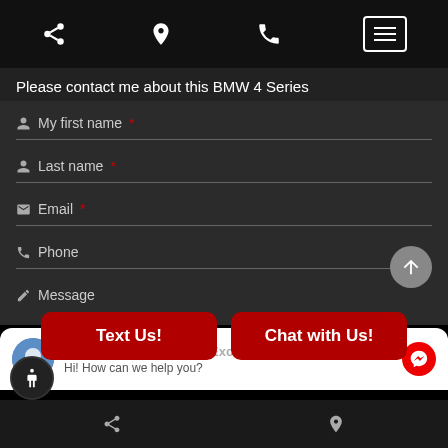Navigation bar with share, location, phone, and menu icons
Please contact me about this BMW 4 Series
My first name*
Last name*
Email*
Phone
Message
Text Us!
Chat with Us!
Chat with Route 4 Auto Exchange
Hi! How can we help you?